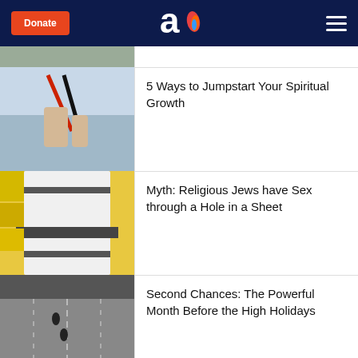Donate | Aish | Menu
[Figure (photo): Partial article image at top (cropped)]
[Figure (photo): Person holding jumper cables overhead]
5 Ways to Jumpstart Your Spiritual Growth
[Figure (photo): Man in white tallit (prayer shawl) against yellow background]
Myth: Religious Jews have Sex through a Hole in a Sheet
[Figure (photo): Black and white aerial photo of motorcyclists on a road]
Second Chances: The Powerful Month Before the High Holidays